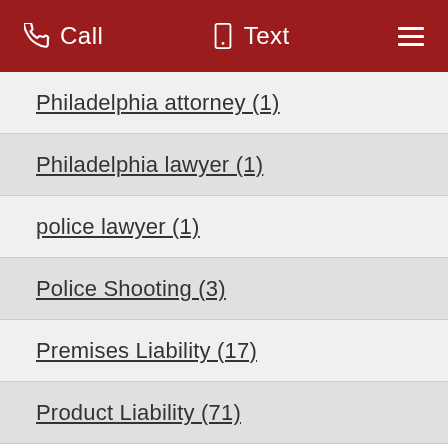Call   Text   ☰
Philadelphia attorney (1)
Philadelphia lawyer (1)
police lawyer (1)
Police Shooting (3)
Premises Liability (17)
Product Liability (71)